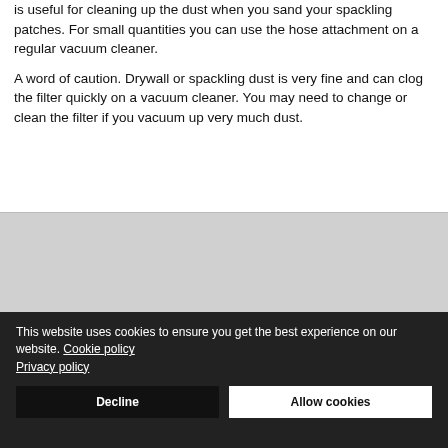is useful for cleaning up the dust when you sand your spackling patches. For small quantities you can use the hose attachment on a regular vacuum cleaner.
A word of caution. Drywall or spackling dust is very fine and can clog the filter quickly on a vacuum cleaner. You may need to change or clean the filter if you vacuum up very much dust.
This website uses cookies to ensure you get the best experience on our website. Cookie policy
Privacy policy